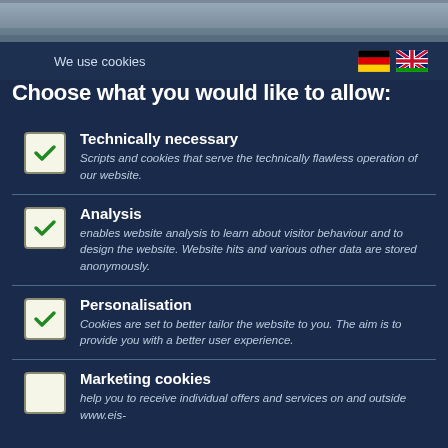[Figure (screenshot): Top banner with landscape/sky photo, grey-blue tones]
We use cookies
Choose what you would like to allow:
Technically necessary – Scripts and cookies that serve the technically flawless operation of our website.
Analysis – enables website analysis to learn about visitor behaviour and to design the website. Website hits and various other data are stored anonymously.
Personalisation – Cookies are set to better tailor the website to you. The aim is to provide you with a better user experience.
Marketing cookies – help you to receive individual offers and services on and outside www.eis-